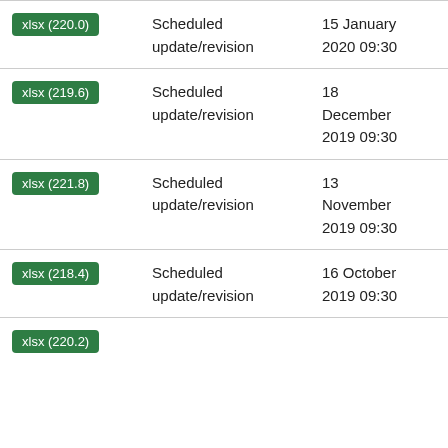| File | Description | Date |
| --- | --- | --- |
| xlsx (220.0) | Scheduled update/revision | 15 January 2020 09:30 |
| xlsx (219.6) | Scheduled update/revision | 18 December 2019 09:30 |
| xlsx (221.8) | Scheduled update/revision | 13 November 2019 09:30 |
| xlsx (218.4) | Scheduled update/revision | 16 October 2019 09:30 |
| xlsx (220.2) | Scheduled update/revision |  |